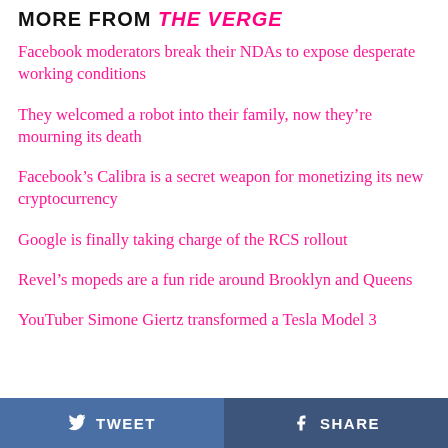MORE FROM THE VERGE
Facebook moderators break their NDAs to expose desperate working conditions
They welcomed a robot into their family, now they're mourning its death
Facebook's Calibra is a secret weapon for monetizing its new cryptocurrency
Google is finally taking charge of the RCS rollout
Revel's mopeds are a fun ride around Brooklyn and Queens
YouTuber Simone Giertz transformed a Tesla Model 3
TWEET   SHARE